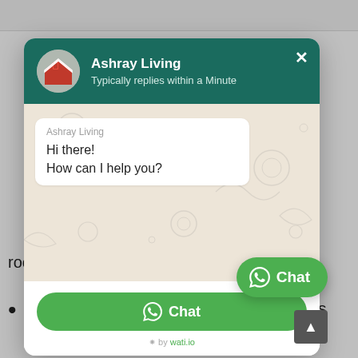[Figure (screenshot): WhatsApp-style chat widget modal from Ashray Living, showing a dark teal header with logo, chat area with a greeting bubble, a green Chat button, and powered by wati.io text. Behind the modal, partially visible webpage content shows bullet points about Boys PG in Delhi.]
room or washing your clothes
Having difficulty to settle … Boys PG in Delhi